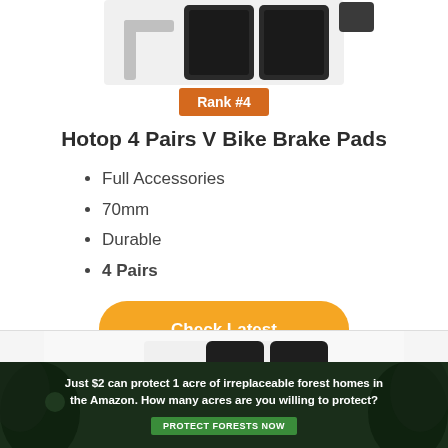[Figure (photo): Product image of Hotop 4 Pairs V Bike Brake Pads partially visible at top of page]
Rank #4
Hotop 4 Pairs V Bike Brake Pads
Full Accessories
70mm
Durable
4 Pairs
Check Latest Price
[Figure (photo): Second product image of bike brake pads partially visible at bottom of page]
Just $2 can protect 1 acre of irreplaceable forest homes in the Amazon. How many acres are you willing to protect?
PROTECT FORESTS NOW